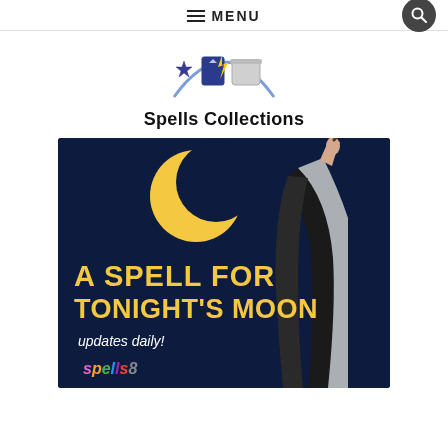☰ MENU
[Figure (logo): Spells Collections logo — partial circular illustration with star, playing card, and cauldron motif on white background]
Spells Collections
[Figure (illustration): Dark navy banner image showing a crescent moon, a silhouette of a woman with long hair holding a wand raised, with text 'A SPELL FOR TONIGHT'S MOON updates daily! spells8']